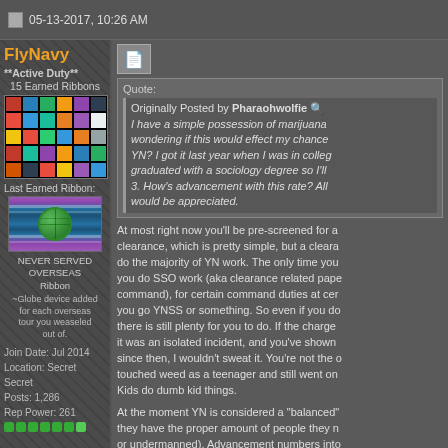05-13-2017, 10:26 AM
FlyNavy
**Active Duty**
15 Earned Ribbons
[Figure (illustration): Grid of military ribbons/medals]
Last Earned Ribbon:
[Figure (illustration): NEVER SERVED OVERSEAS Ribbon with globe device]
NEVER SERVED OVERSEAS Ribbon
~Globe device added for each overseas tour you weaseled out of.
Join Date: Jul 2014
Location: Secret Secret
Posts: 1,286
Rep Power: 261
[Figure (illustration): Green reputation power bar dots]
Originally Posted by Pharaohwolfie
I have a simple possession of marijuana... wondering if this would effect my chance... YN? I got it last year when I was in college... graduated with a sociology degree so I'll... 3. How's advancement with this rate? All... would be appreciated.
At most right now you'll be pre-screened for a clearance, which is pretty simple, but a clearance... do the majority of YN work. The only time you... you do SSO work (aka clearance related pape... command), for certain command duties at cer... you go YNSS or something. So even if you do... there is still plenty for you to do. If the charge... it was an isolated incident, and you've shown... since then, I wouldn't sweat it. You're not the o... touched weed as a teenager and still went on... Kids do dumb kid things.
At the moment YN is considered a "balanced"... they have the proper amount of people they n... or undermanned). Advancement numbers into...